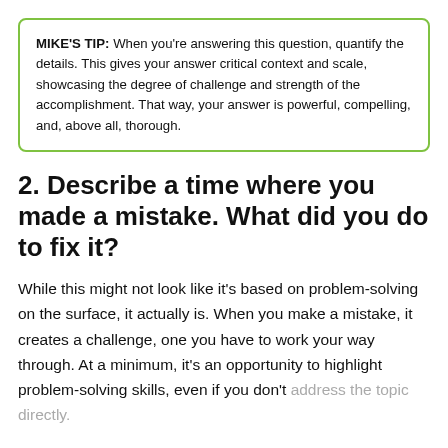MIKE'S TIP: When you're answering this question, quantify the details. This gives your answer critical context and scale, showcasing the degree of challenge and strength of the accomplishment. That way, your answer is powerful, compelling, and, above all, thorough.
2. Describe a time where you made a mistake. What did you do to fix it?
While this might not look like it's based on problem-solving on the surface, it actually is. When you make a mistake, it creates a challenge, one you have to work your way through. At a minimum, it's an opportunity to highlight problem-solving skills, even if you don't address the topic directly.